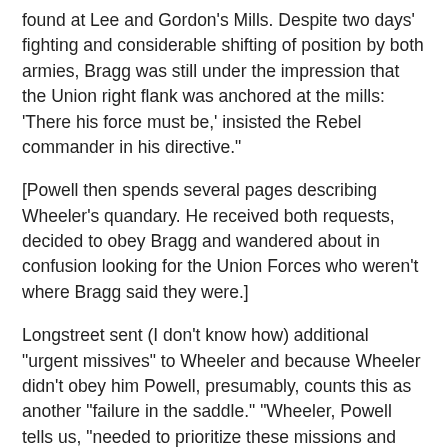found at Lee and Gordon's Mills. Despite two days' fighting and considerable shifting of position by both armies, Bragg was still under the impression that the Union right flank was anchored at the mills: 'There his force must be,' insisted the Rebel commander in his directive."
[Powell then spends several pages describing Wheeler's quandary. He received both requests, decided to obey Bragg and wandered about in confusion looking for the Union Forces who weren't where Bragg said they were.]
Longstreet sent (I don't know how) additional "urgent missives" to Wheeler and because Wheeler didn't obey him Powell, presumably, counts this as another "failure in the saddle." "Wheeler, Powell tells us, "needed to prioritize these missions and decide which were the most critical.
"Instead of making a firm decision and acting decisively, a curious passivity settled over the Rebel cavalry chief. He had